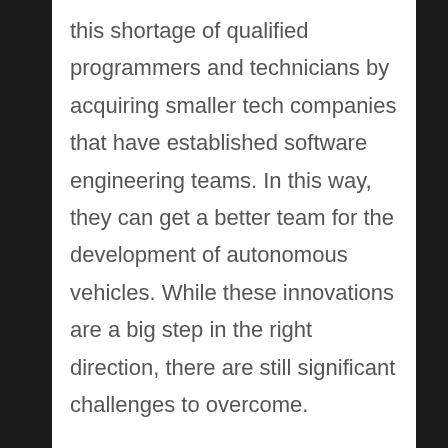this shortage of qualified programmers and technicians by acquiring smaller tech companies that have established software engineering teams. In this way, they can get a better team for the development of autonomous vehicles. While these innovations are a big step in the right direction, there are still significant challenges to overcome.
In automotive manufacturing, AI also enables personalized assembly lines. In cities like Cincinnati, officials receive around 80,000 requests every year.
Because AI can analyze large amounts of data and figure out how to best respond to them